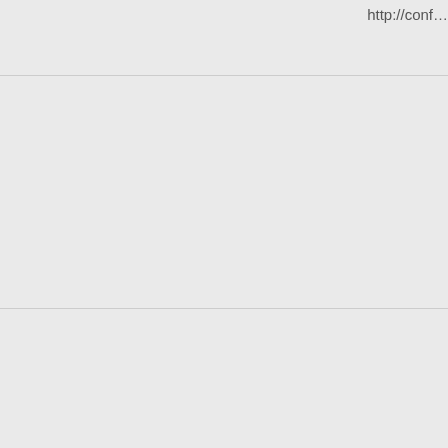http://conf...
viagra en f
16 May 2012
kszglgaz, [url="http:/... commande... homme</a... http://saks... href="http:... [url="http:/... viagra gen... levitra 20m... http://conf...
Reply
viagra farm
16 May 2012
uqfuljkg, <
[url="http:/...
aczhetwg,
[url="http:/...
Reply